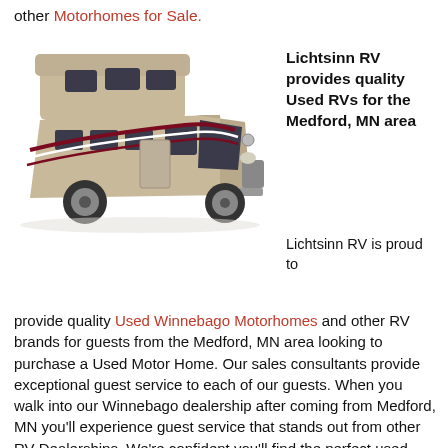other Motorhomes for Sale.
[Figure (photo): A large Class C motorhome (RV) in a tan/gold color with dark red and white swoosh graphic stripes, viewed from a front-left angle. Mercedes-Benz chassis, shown on a white background.]
Lichtsinn RV provides quality Used RVs for the Medford, MN area
Lichtsinn RV is proud to provide quality Used Winnebago Motorhomes and other RV brands for guests from the Medford, MN area looking to purchase a Used Motor Home. Our sales consultants provide exceptional guest service to each of our guests. When you walk into our Winnebago dealership after coming from Medford, MN you'll experience guest service that stands out from other RV Dealerships. We're confident you'll find the perfect used Winnebago Motorhome or other brand Motor Home at Lichtsinn RV. Many of our Pre-Owned Motorhomes come with a Certified Preowned RV Warranty.